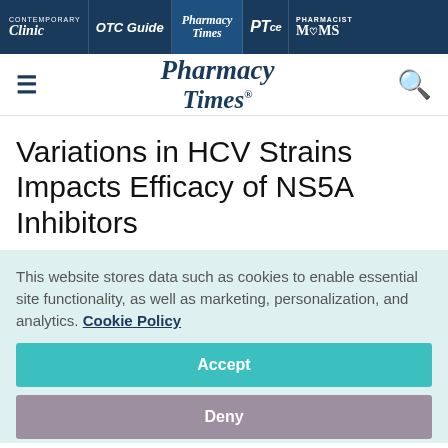Contemporary Clinic | OTC Guide | Pharmacy Times | PTce | Pharmacist Moms
[Figure (logo): Pharmacy Times logo with hamburger menu and search icon]
Variations in HCV Strains Impacts Efficacy of NS5A Inhibitors
This website stores data such as cookies to enable essential site functionality, as well as marketing, personalization, and analytics. Cookie Policy
Accept
Deny